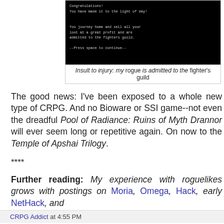[Figure (screenshot): Black screen showing retro game text: 'Congratulations! You have made it to the light of day!' and 'You journey home and sell all your loot at a great profit and are admitted to the fighters guild.' and '--Press space to continue--']
Insult to injury: my rogue is admitted to the fighter's guild
The good news: I've been exposed to a whole new type of CRPG. And no Bioware or SSI game--not even the dreadful Pool of Radiance: Ruins of Myth Drannor will ever seem long or repetitive again. On now to the Temple of Apshai Trilogy.
****
Further reading: My experience with roguelikes grows with postings on Moria, Omega, Hack, early NetHack, and NetHack 3.0.
CRPG Addict at 4:55 PM